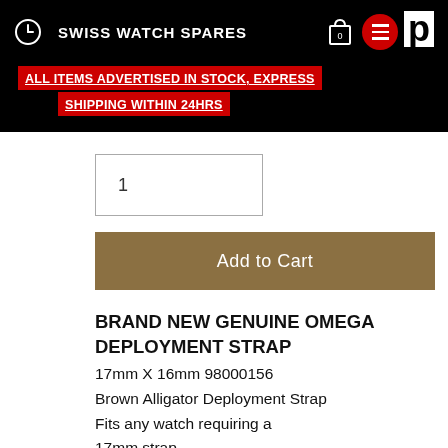SWISS WATCH SPARES
ALL ITEMS ADVERTISED IN STOCK, EXPRESS SHIPPING WITHIN 24HRS
1
Add to Cart
BRAND NEW GENUINE OMEGA DEPLOYMENT STRAP
17mm X 16mm 98000156
Brown Alligator Deployment Strap
Fits any watch requiring a
17mm strap